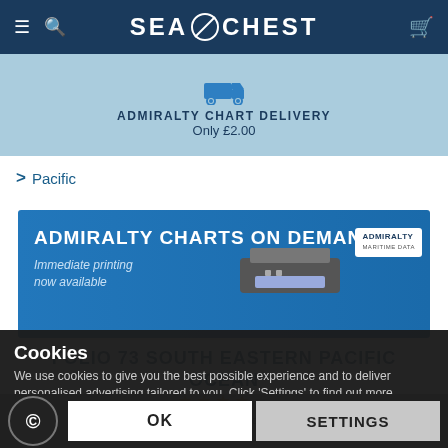SEA CHEST
ADMIRALTY CHART DELIVERY
Only £2.00
> Pacific
[Figure (screenshot): Admiralty Charts on Demand banner — 'ADMIRALTY CHARTS ON DEMAND / Immediate printing now available' with a printer image and Admiralty logo]
FOLIO 73 SOUTH EASTERN PACIFIC OCEAN
★★★★★ Rated by our customers
Cookies
We use cookies to give you the best possible experience and to deliver personalised advertising tailored to you. Click 'Settings' to find out more.
OK   SETTINGS